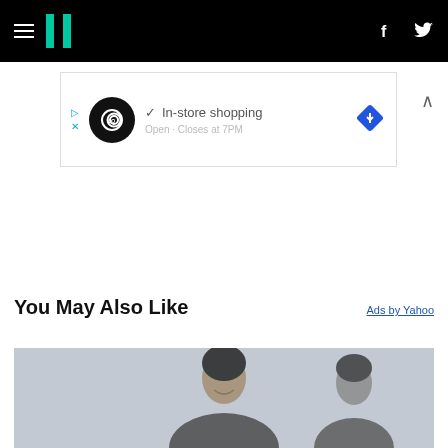HuffPost navigation bar with hamburger menu, logo, Facebook and Twitter icons
[Figure (screenshot): Ad banner showing in-store shopping advertisement with infinity loop logo, blue diamond navigation icon, checkmark, and partial text]
You May Also Like
Ads by Yahoo
[Figure (photo): Photo of a woman smiling, appearing to be in an office or indoor setting]